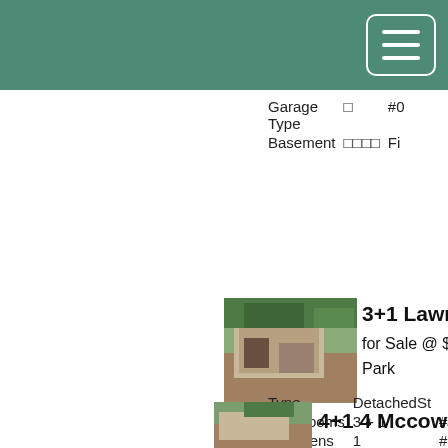[Figure (screenshot): Green navigation header bar with hamburger menu button in top right corner]
| Field | Value1 | Value2 |
| --- | --- | --- |
| Garage Type | □ | #0 |
| Basement | □□□□ | Fi |
3+1 Lawrence
for Sale @ $558,000
Park
| Field | Value1 | Value2 |
| --- | --- | --- |
| Type | DetachedSt |  |
| #Bedrooms | 3 + 1 | #W |
| #Kitchens | 1 | #R |
| Garage Type | □ | #0 |
| Basement | □□□□ | Fi |
4+1 4 Mcowan